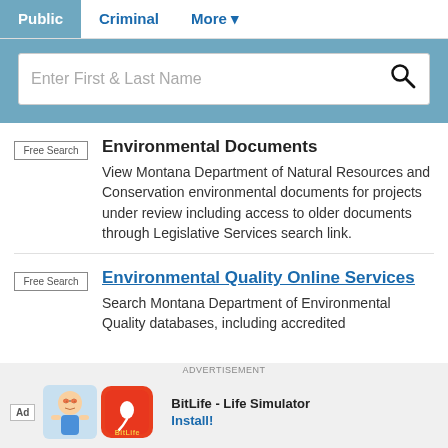Public  Criminal  More ▾
[Figure (screenshot): Search bar with placeholder text 'Enter First & Last Name' and a search icon]
Free Search — Environmental Documents — View Montana Department of Natural Resources and Conservation environmental documents for projects under review including access to older documents through Legislative Services search link.
Free Search — Environmental Quality Online Services — Search Montana Department of Environmental Quality databases, including accredited…
ADVERTISEMENT
Ad  BitLife - Life Simulator  Install!